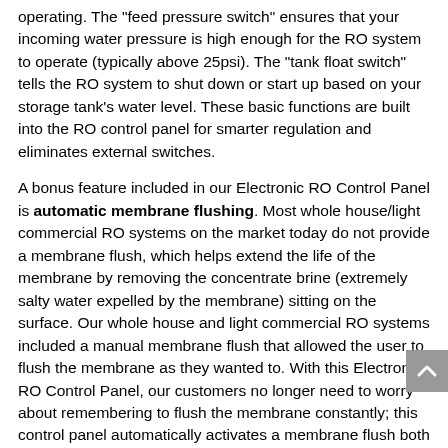operating. The "feed pressure switch" ensures that your incoming water pressure is high enough for the RO system to operate (typically above 25psi). The "tank float switch" tells the RO system to shut down or start up based on your storage tank's water level. These basic functions are built into the RO control panel for smarter regulation and eliminates external switches.
A bonus feature included in our Electronic RO Control Panel is automatic membrane flushing. Most whole house/light commercial RO systems on the market today do not provide a membrane flush, which helps extend the life of the membrane by removing the concentrate brine (extremely salty water expelled by the membrane) sitting on the surface. Our whole house and light commercial RO systems included a manual membrane flush that allowed the user to flush the membrane as they wanted to. With this Electronic RO Control Panel, our customers no longer need to worry about remembering to flush the membrane constantly; this control panel automatically activates a membrane flush both at start up and shut down, ensuring longevity of your RO membrane.
The most important feature on this control panel, however, is the low pressure shutdown. Both public city water users and private well water users can suffer from periods of low pressure which can have a great negative affect on any RO